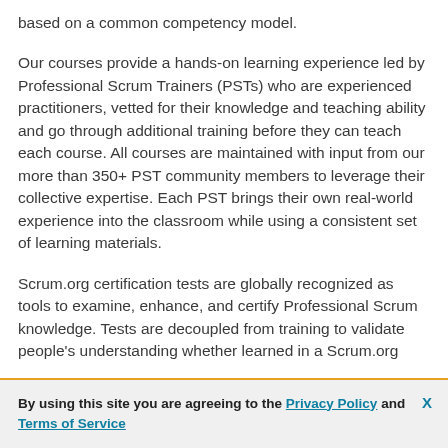based on a common competency model.
Our courses provide a hands-on learning experience led by Professional Scrum Trainers (PSTs) who are experienced practitioners, vetted for their knowledge and teaching ability and go through additional training before they can teach each course. All courses are maintained with input from our more than 350+ PST community members to leverage their collective expertise. Each PST brings their own real-world experience into the classroom while using a consistent set of learning materials.
Scrum.org certification tests are globally recognized as tools to examine, enhance, and certify Professional Scrum knowledge. Tests are decoupled from training to validate people's understanding whether learned in a Scrum.org
By using this site you are agreeing to the Privacy Policy and Terms of Service